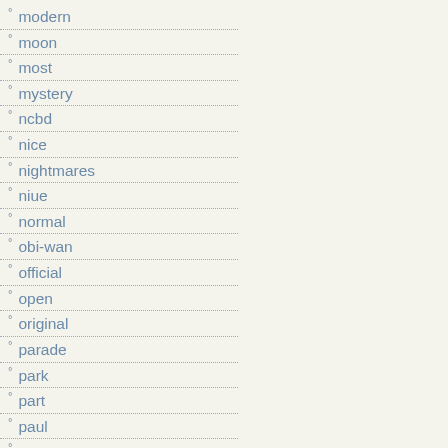modern
moon
most
mystery
ncbd
nice
nightmares
niue
normal
obi-wan
official
open
original
parade
park
part
paul
pawn
peach
persuasion
peter
pizzazz